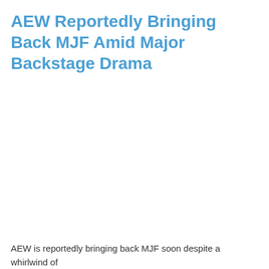AEW Reportedly Bringing Back MJF Amid Major Backstage Drama
AEW is reportedly bringing back MJF soon despite a whirlwind of